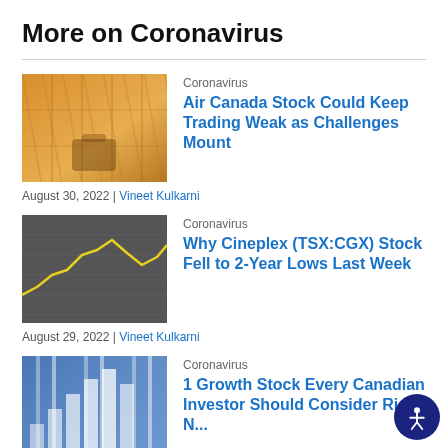More on Coronavirus
[Figure (photo): Airport terminal interior with orange sunlight]
Coronavirus
Air Canada Stock Could Keep Trading Weak as Challenges Mount
August 30, 2022 | Vineet Kulkarni
[Figure (photo): Dark grayscale financial chart with yellow line graph overlay]
Coronavirus
Why Cineplex (TSX:CGX) Stock Fell to 2-Year Lows Last Week
August 29, 2022 | Vineet Kulkarni
[Figure (photo): Blue-toned bar chart with white bars on blue background]
Coronavirus
1 Growth Stock Every Canadian Investor Should Consider Right Now